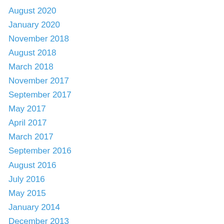August 2020
January 2020
November 2018
August 2018
March 2018
November 2017
September 2017
May 2017
April 2017
March 2017
September 2016
August 2016
July 2016
May 2015
January 2014
December 2013
November 2013
October 2013
September 2013
August 2013